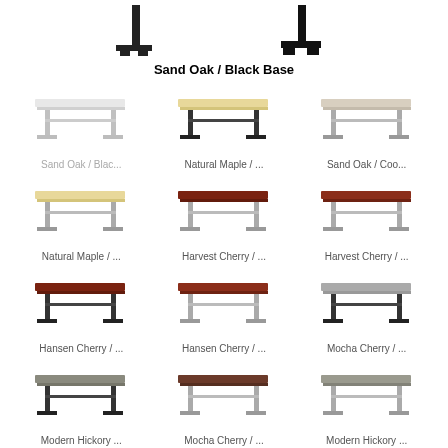[Figure (illustration): Two desk leg/base silhouettes shown from front at top of page]
Sand Oak / Black Base
[Figure (illustration): Grid of 12 desk product thumbnails with labels: Sand Oak / Blac..., Natural Maple / ..., Sand Oak / Coo..., Natural Maple / ..., Harvest Cherry / ..., Harvest Cherry / ..., Hansen Cherry / ..., Hansen Cherry / ..., Mocha Cherry / ..., Modern Hickory ..., Mocha Cherry / ..., Modern Hickory ...]